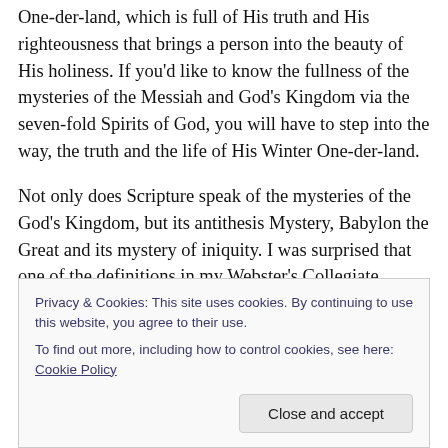One-der-land, which is full of His truth and His righteousness that brings a person into the beauty of His holiness. If you'd like to know the fullness of the mysteries of the Messiah and God's Kingdom via the seven-fold Spirits of God, you will have to step into the way, the truth and the life of His Winter One-der-land.
Not only does Scripture speak of the mysteries of the God's Kingdom, but its antithesis Mystery, Babylon the Great and its mystery of iniquity. I was surprised that one of the definitions in my Webster's Collegiate Dictionary
Privacy & Cookies: This site uses cookies. By continuing to use this website, you agree to their use.
To find out more, including how to control cookies, see here: Cookie Policy